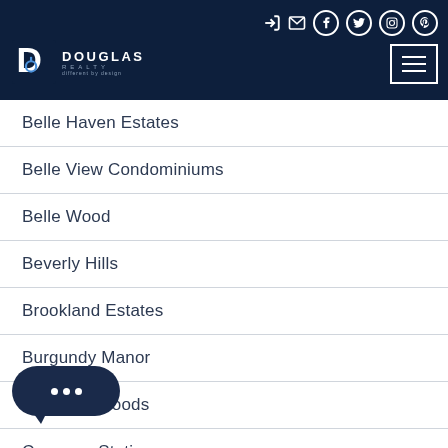Douglas Realty — navigation header with logo and social icons
Belle Haven Estates
Belle View Condominiums
Belle Wood
Beverly Hills
Brookland Estates
Burgundy Manor
Bush Hill Woods
Cameron Station